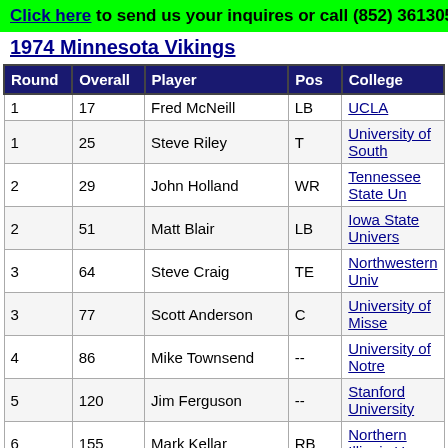Click here to send us your inquires or call (852) 36130518
1974 Minnesota Vikings
| Round | Overall | Player | Pos | College |
| --- | --- | --- | --- | --- |
| 1 | 17 | Fred McNeill | LB | UCLA |
| 1 | 25 | Steve Riley | T | University of South... |
| 2 | 29 | John Holland | WR | Tennessee State Un... |
| 2 | 51 | Matt Blair | LB | Iowa State Univers... |
| 3 | 64 | Steve Craig | TE | Northwestern Univ... |
| 3 | 77 | Scott Anderson | C | University of Misse... |
| 4 | 86 | Mike Townsend | -- | University of Notre... |
| 5 | 120 | Jim Ferguson | -- | Stanford University... |
| 6 | 155 | Mark Kellar | RB | Northern Illinois U... |
| 7 | 181 | Fred Tabron | -- | Missouri State Unit... |
| 8 | 207 | Berl Simmons | -- | Texas Christian Un... |
| 9 | 232 | Sam McCullum | WR | Montana State Uni... |
| 10 | 259 | Barry Reed | -- | Peru State College... |
| 11 | 285 | Dave Boone | DE | Eastern Michigan U... |
| 12 | 311 | Randy Poltl | DB | Stanford University... |
| 13 | 337 | Gary Keller | -- | University of Utah... |
| 14 | 363 | Alan Dixon | -- | Harding University... |
| 15 | 389 | Kurt Wachtler | -- | Saint John's Univer... |
| 16 | 415 | John Gardemal |  | St. Thomas Univ... |